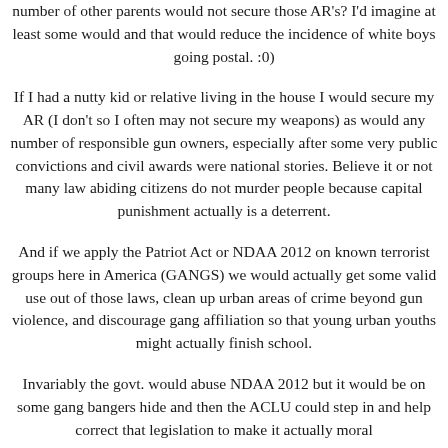number of other parents would not secure those AR's? I'd imagine at least some would and that would reduce the incidence of white boys going postal. :0)
If I had a nutty kid or relative living in the house I would secure my AR (I don't so I often may not secure my weapons) as would any number of responsible gun owners, especially after some very public convictions and civil awards were national stories. Believe it or not many law abiding citizens do not murder people because capital punishment actually is a deterrent.
And if we apply the Patriot Act or NDAA 2012 on known terrorist groups here in America (GANGS) we would actually get some valid use out of those laws, clean up urban areas of crime beyond gun violence, and discourage gang affiliation so that young urban youths might actually finish school.
Invariably the govt. would abuse NDAA 2012 but it would be on some gang bangers hide and then the ACLU could step in and help correct that legislation to make it actually moral